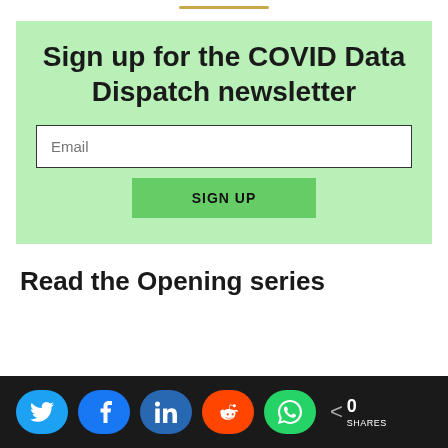Sign up for the COVID Data Dispatch newsletter
Email
SIGN UP
Read the Opening series
[Figure (infographic): Social media share bar with Twitter, Facebook, LinkedIn, Reddit, WhatsApp buttons and share count of 0]